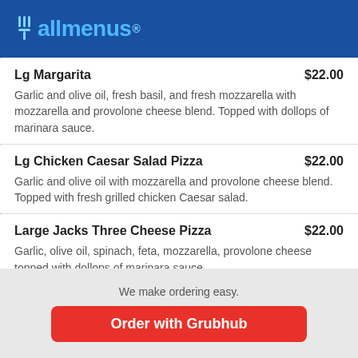allmenus
Lg Margarita $22.00 — Garlic and olive oil, fresh basil, and fresh mozzarella with mozzarella and provolone cheese blend. Topped with dollops of marinara sauce.
Lg Chicken Caesar Salad Pizza $22.00 — Garlic and olive oil with mozzarella and provolone cheese blend. Topped with fresh grilled chicken Caesar salad.
Large Jacks Three Cheese Pizza $22.00 — Garlic, olive oil, spinach, feta, mozzarella, provolone cheese topped with dollops of marinara sauce.
We make ordering easy. Order with Grubhub